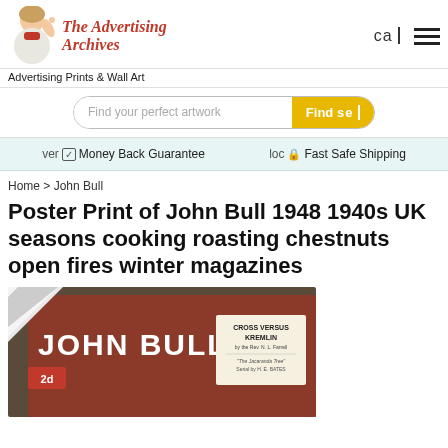[Figure (logo): The Advertising Archives logo with vintage woman illustration and red italic text]
Advertising Prints & Wall Art
Find your perfect artwork
ver  Money Back Guarantee    loc  Fast Safe Shipping
Home > John Bull
Poster Print of John Bull 1948 1940s UK seasons cooking roasting chestnuts open fires winter magazines
[Figure (photo): John Bull 1948 magazine cover showing JOHN BULL text and CROSS VERSUS KREMLIN article title with vintage poster print curl effect]